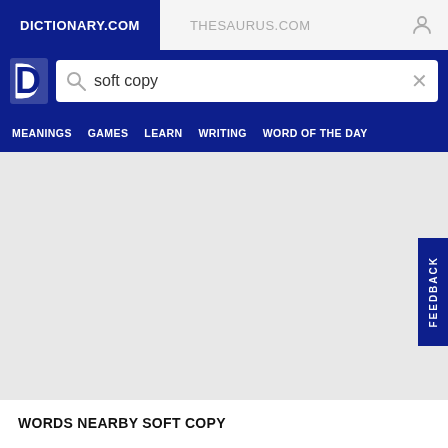DICTIONARY.COM | THESAURUS.COM
soft copy
MEANINGS  GAMES  LEARN  WRITING  WORD OF THE DAY
FEEDBACK
WORDS NEARBY SOFT COPY